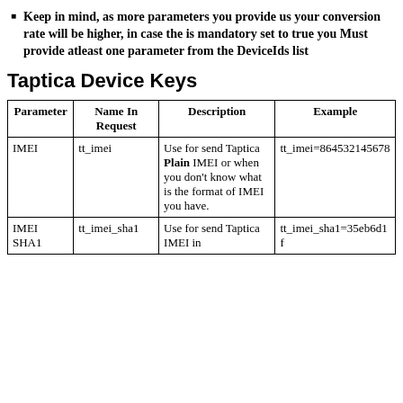Keep in mind, as more parameters you provide us your conversion rate will be higher, in case the is mandatory set to true you Must provide atleast one parameter from the DeviceIds list
Taptica Device Keys
| Parameter | Name In Request | Description | Example |
| --- | --- | --- | --- |
| IMEI | tt_imei | Use for send Taptica Plain IMEI or when you don't know what is the format of IMEI you have. | tt_imei=864532145678 |
| IMEI SHA1 | tt_imei_sha1 | Use for send Taptica IMEI in | tt_imei_sha1=35eb6d1f |